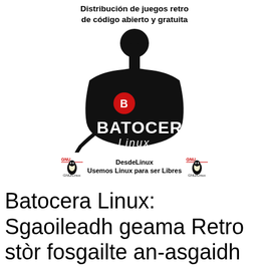[Figure (logo): Batocera Linux logo with joystick illustration and tagline 'Distribución de juegos retro de código abierto y gratuita', along with DesdeLinux GNU/Linux branding bar 'Usemos Linux para ser Libres']
Batocera Linux: Sgaoileadh geama Retro stòr fosgailte an-asgaidh
An-diugh, nì sinn sgrùdadh air aon GNU / Linux Distro a bharrachd, air a stiùireadh gu Gaming air Linux, is e sin, gu raon gheamannan agus Cluich ...